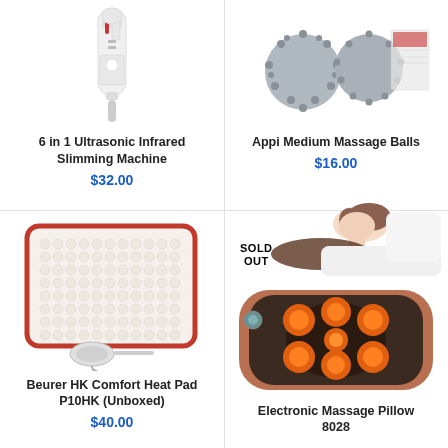[Figure (photo): 6 in 1 Ultrasonic Infrared Slimming Machine product photo - white handheld device]
6 in 1 Ultrasonic Infrared Slimming Machine
$32.00
[Figure (photo): Appi Medium Massage Balls - grey spiky massage balls with product packaging]
Appi Medium Massage Balls
$16.00
[Figure (photo): Beurer HK Comfort Heat Pad P10HK Unboxed - rectangular red-trimmed heating pad with controller]
Beurer HK Comfort Heat Pad P10HK (Unboxed)
$40.00
[Figure (photo): Electronic Massage Pillow 8028 - shiatsu neck massage pillow with heat, woman lying on it shown above, SOLD OUT badge]
SOLD OUT
Electronic Massage Pillow 8028